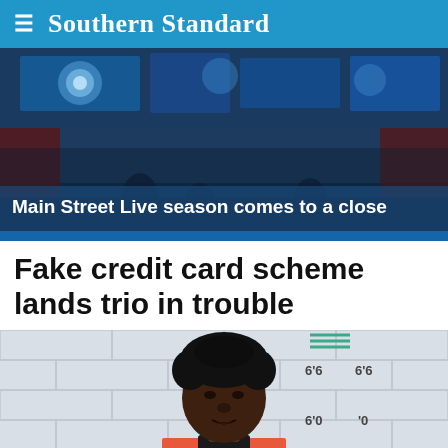Southern Standard
[Figure (photo): Hero image showing a nighttime outdoor stage/event area with blue lights, with overlay caption 'Main Street Live season comes to a close']
Main Street Live season comes to a close
Fake credit card scheme lands trio in trouble
[Figure (photo): Mugshot of a young Black male in an orange and white striped jail uniform, standing against a white cinderblock wall with a height chart behind him showing markings at 5'6, 6'0, and 6'6]